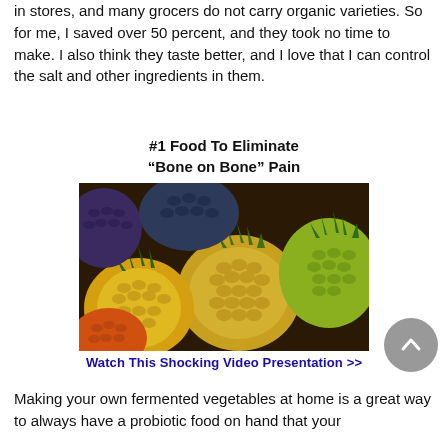in stores, and many grocers do not carry organic varieties. So for me, I saved over 50 percent, and they took no time to make. I also think they taste better, and I love that I can control the salt and other ingredients in them.
[Figure (infographic): Advertisement block with bold heading '#1 Food To Eliminate "Bone on Bone" Pain', a photo of pineapples, and a blue link 'Watch This Shocking Video Presentation >>']
Making your own fermented vegetables at home is a great way to always have a probiotic food on hand that your